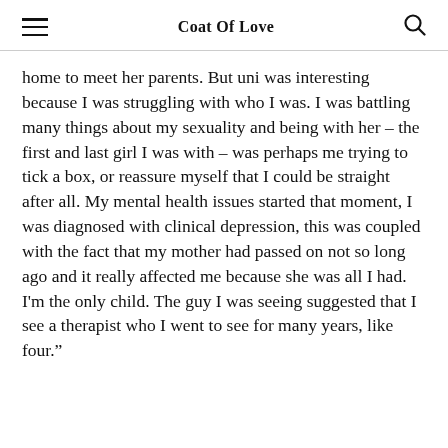Coat Of Love
home to meet her parents. But uni was interesting because I was struggling with who I was. I was battling many things about my sexuality and being with her – the first and last girl I was with – was perhaps me trying to tick a box, or reassure myself that I could be straight after all. My mental health issues started that moment, I was diagnosed with clinical depression, this was coupled with the fact that my mother had passed on not so long ago and it really affected me because she was all I had. I'm the only child. The guy I was seeing suggested that I see a therapist who I went to see for many years, like four."